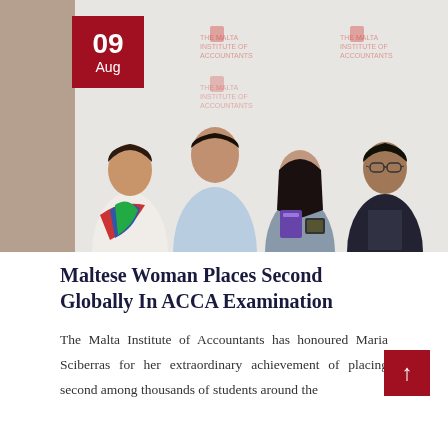[Figure (photo): Group photo of four people standing in front of a Malta Institute of Accountants branded backdrop. A woman on the left wears a white outfit with a colorful scarf. A tall man in a light blue shirt stands next to her. A young woman in the center holds awards including a purple certificate folder and a medal box. A man in a dark suit and glasses stands on the right. A red date badge overlay shows '09 Aug'.]
Maltese Woman Places Second Globally In ACCA Examination
The Malta Institute of Accountants has honoured Maria Sciberras for her extraordinary achievement of placing second among thousands of students around the